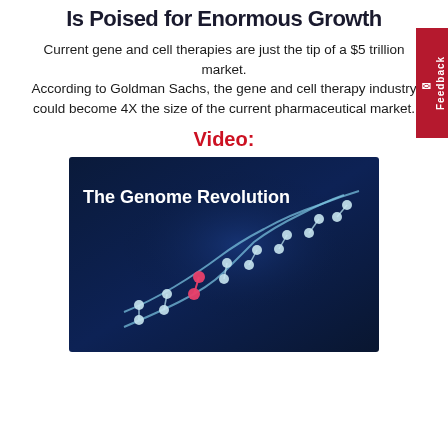Is Poised for Enormous Growth
Current gene and cell therapies are just the tip of a $5 trillion market. According to Goldman Sachs, the gene and cell therapy industry could become 4X the size of the current pharmaceutical market.
Video:
[Figure (photo): Video thumbnail showing a DNA double helix model with glowing blue and pink nodes on a dark blue background, with white bold text reading 'The Genome Revolution']